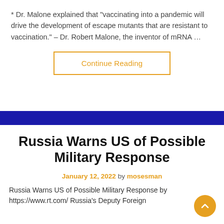* Dr. Malone explained that “vaccinating into a pandemic will drive the development of escape mutants that are resistant to vaccination.” – Dr. Robert Malone, the inventor of mRNA …
Continue Reading
Russia Warns US of Possible Military Response
January 12, 2022 by mosesman
Russia Warns US of Possible Military Response by https://www.rt.com/ Russia’s Deputy Foreign